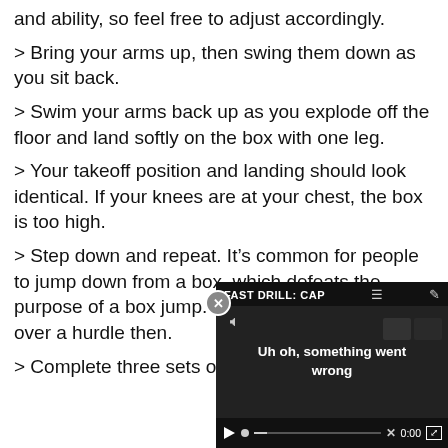and ability, so feel free to adjust accordingly.
> Bring your arms up, then swing them down as you sit back.
> Swim your arms back up as you explode off the floor and land softly on the box with one leg.
> Your takeoff position and landing should look identical. If your knees are at your chest, the box is too high.
> Step down and repeat. It’s common for people to jump down from a box, which defeats the purpose of a box jump. You might as well jump over a hurdle then.
> Complete three sets of s…
[Figure (screenshot): Video player overlay showing 'FAST DRILL: CAP...' title with error message 'Uh oh, something went wrong', mute icon, play button, scrubber, X, 0:00 timestamp, and fullscreen button on dark background.]